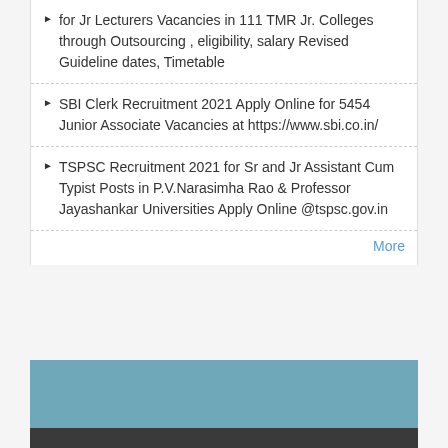for Jr Lecturers Vacancies in 111 TMR Jr. Colleges through Outsourcing , eligibility, salary Revised Guideline dates, Timetable
SBI Clerk Recruitment 2021 Apply Online for 5454 Junior Associate Vacancies at https://www.sbi.co.in/
TSPSC Recruitment 2021 for Sr and Jr Assistant Cum Typist Posts in P.V.Narasimha Rao & Professor Jayashankar Universities Apply Online @tspsc.gov.in
More
Copyright © 2022 Paatasaala- AP, Telangana Educational Information Schools, Teachers Latest Updates | Published by Paatasaala.in